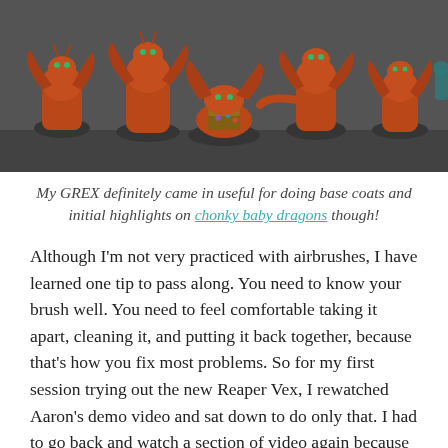[Figure (photo): Seven red/orange painted dragon miniatures (chonky baby dragons) posed on a dark grey surface, photographed from the front.]
My GREX definitely came in useful for doing base coats and initial highlights on chonky baby dragons though!
Although I'm not very practiced with airbrushes, I have learned one tip to pass along. You need to know your brush well. You need to feel comfortable taking it apart, cleaning it, and putting it back together, because that's how you fix most problems. So for my first session trying out the new Reaper Vex, I rewatched Aaron's demo video and sat down to do only that. I had to go back and watch a section of video again because I didn't remember how to reassemble the trigger parts after the first watching. I shot some water through it and called it a night. Whatever brand of airbrush you have, I recommend looking for some videos of people breaking it down and putting it back together again to have